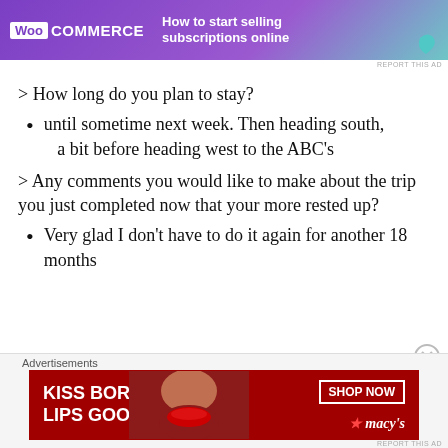[Figure (other): WooCommerce advertisement banner: purple background with WooCommerce logo and text 'How to start selling subscriptions online']
> How long do you plan to stay?
until sometime next week. Then heading south, a bit before heading west to the ABC's
> Any comments you would like to make about the trip you just completed now that your more rested up?
Very glad I don't have to do it again for another 18 months
[Figure (other): Macy's advertisement banner: red background with text 'KISS BORING LIPS GOODBYE', a woman's face with red lips, 'SHOP NOW' button, and Macy's star logo]